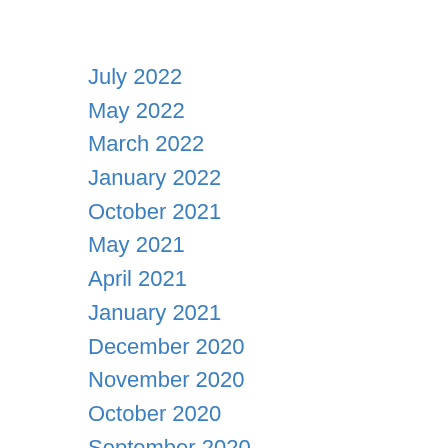July 2022
May 2022
March 2022
January 2022
October 2021
May 2021
April 2021
January 2021
December 2020
November 2020
October 2020
September 2020
August 2020
July 2020